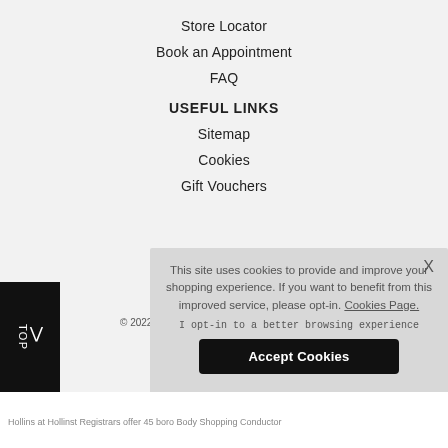Store Locator
Book an Appointment
FAQ
USEFUL LINKS
Sitemap
Cookies
Gift Vouchers
This site uses cookies to provide and improve your shopping experience. If you want to benefit from this improved service, please opt-in. Cookies Page.
I opt-in to a better browsing experience
Accept Cookies
© 2022 H...
Hollins at Hollinst Registrars offer 45 boro Body Shopping Conductor